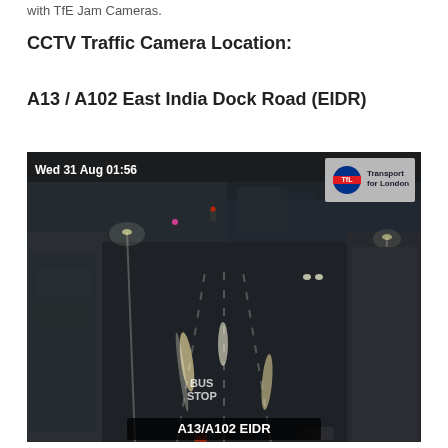with TfE Jam Cameras.
CCTV Traffic Camera Location:
A13 / A102 East India Dock Road (EIDR)
[Figure (photo): Nighttime CCTV traffic camera image of A13/A102 East India Dock Road (EIDR) in London. Timestamp shows Wed 31 Aug 01:56. Transport for London logo in top right. Road has multiple lanes with light trails from vehicles. A bus stop marking is visible on the road surface. Bottom bar reads A13/A102 EIDR.]